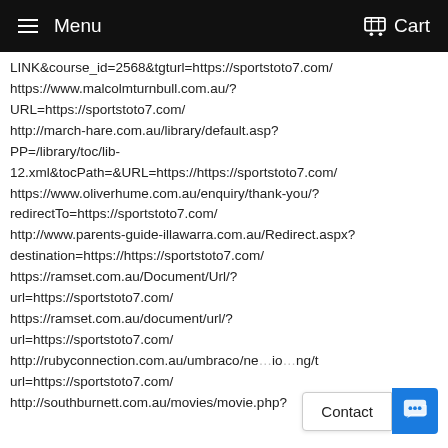Menu  Cart
LINK&course_id=2568&tgturl=https://sportstoto7.com/
https://www.malcolmturnbull.com.au/?URL=https://sportstoto7.com/
http://march-hare.com.au/library/default.asp?PP=/library/toc/lib-12.xml&tocPath=&URL=https://https://sportstoto7.com/
https://www.oliverhume.com.au/enquiry/thank-you/?redirectTo=https://sportstoto7.com/
http://www.parents-guide-illawarra.com.au/Redirect.aspx?destination=https://https://sportstoto7.com/
https://ramset.com.au/Document/Url/?url=https://sportstoto7.com/
https://ramset.com.au/document/url/?url=https://sportstoto7.com/
http://rubyconnection.com.au/umbraco/ne...io...ng/t...url=https://sportstoto7.com/
http://southburnett.com.au/movies/movie.php?